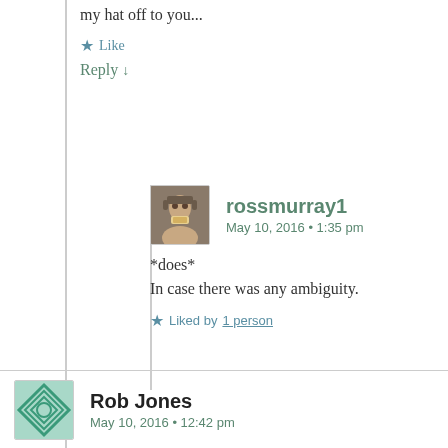my hat off to you...
Like
Reply ↓
rossmurray1
May 10, 2016 • 1:35 pm
*does*
In case there was any ambiguity.
Liked by 1 person
Rob Jones
May 10, 2016 • 12:42 pm
'When nothing happens'! brilliant. I gave